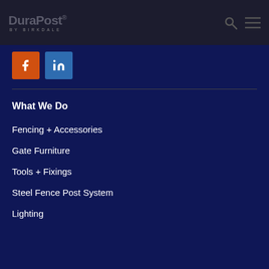DuraPost® BY BIRKDALE
[Figure (logo): DuraPost by Birkdale logo in dark header bar with search and menu icons]
[Figure (illustration): Facebook and LinkedIn social media icons]
What We Do
Fencing + Accessories
Gate Furniture
Tools + Fixings
Steel Fence Post System
Lighting